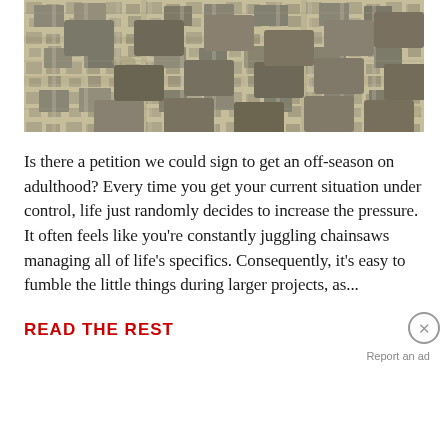[Figure (photo): Aerial view of a suburban neighborhood with houses, driveways, and desert landscaping]
Is there a petition we could sign to get an off-season on adulthood? Every time you get your current situation under control, life just randomly decides to increase the pressure. It often feels like you're constantly juggling chainsaws managing all of life's specifics. Consequently, it's easy to fumble the little things during larger projects, as...
READ THE REST
Report an ad
[Figure (other): Disney Bundle advertisement banner featuring Hulu, Disney+, and ESPN+ logos with 'GET THE DISNEY BUNDLE' call to action]